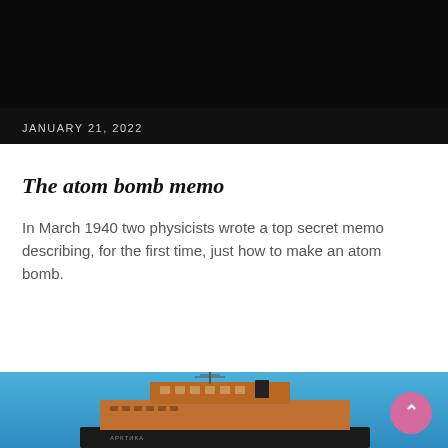JANUARY 21, 2022
The atom bomb memo
In March 1940 two physicists wrote a top secret memo describing, for the first time, just how to make an atom bomb.
[Figure (photo): Photo of a large ship (icebreaker labeled АРКТИКА) with orange hull against a clear blue sky, viewed from a low angle showing the superstructure and bridge.]